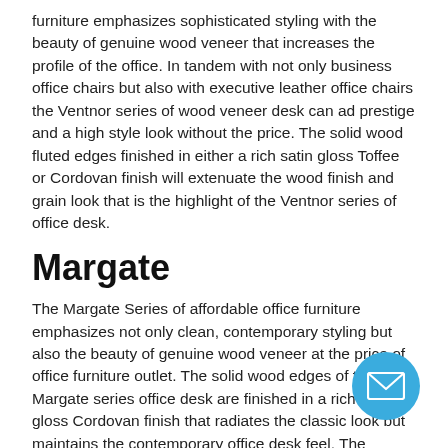furniture emphasizes sophisticated styling with the beauty of genuine wood veneer that increases the profile of the office. In tandem with not only business office chairs but also with executive leather office chairs the Ventnor series of wood veneer desk can ad prestige and a high style look without the price. The solid wood fluted edges finished in either a rich satin gloss Toffee or Cordovan finish will extenuate the wood finish and grain look that is the highlight of the Ventnor series of office desk.
Margate
The Margate Series of affordable office furniture emphasizes not only clean, contemporary styling but also the beauty of genuine wood veneer at the price of office furniture outlet. The solid wood edges of the Margate series office desk are finished in a rich satin gloss Cordovan finish that radiates the classic look but maintains the contemporary office desk feel. The Margate series of business office furniture is the epitome of stark, clean and strong features and lines.
Luminary
The Luminary series from Ofconcepts is designed with today's